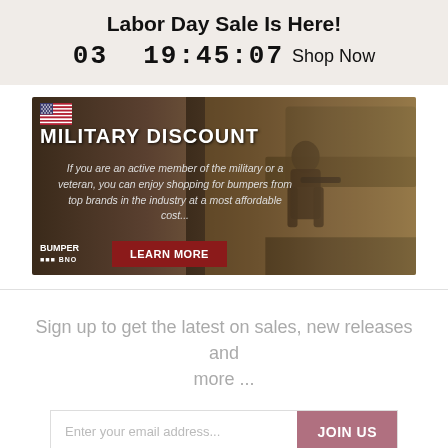Labor Day Sale Is Here!
03 19:45:07  Shop Now
[Figure (illustration): Military discount banner with soldier image, US flag, bold text 'MILITARY DISCOUNT', description about active military members and veterans shopping for bumpers, Bumper logo, and a 'LEARN MORE' button]
Sign up to get the latest on sales, new releases and more ...
Enter your email address...  JOIN US